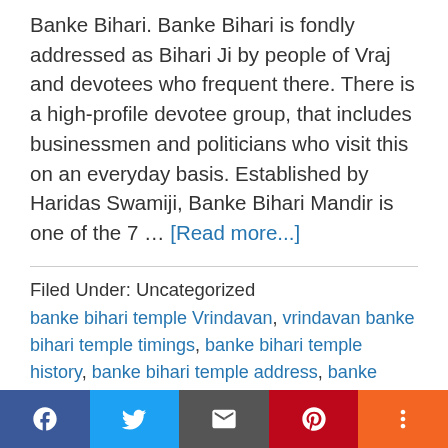Banke Bihari. Banke Bihari is fondly addressed as Bihari Ji by people of Vraj and devotees who frequent there. There is a high-profile devotee group, that includes businessmen and politicians who visit this on an everyday basis. Established by Haridas Swamiji, Banke Bihari Mandir is one of the 7 … [Read more...]
Filed Under: Uncategorized
banke bihari temple Vrindavan, vrindavan banke bihari temple timings, banke bihari temple history, banke bihari temple address, banke Bihari interesting facts…, vrindavan banke bihari temple about vrindavan banke
[Figure (infographic): Social sharing bar with Facebook, Twitter, Email, Pinterest, and More buttons]